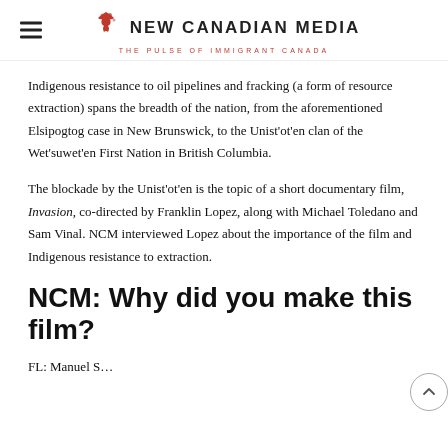NEW CANADIAN MEDIA — THE PULSE OF IMMIGRANT CANADA
Indigenous resistance to oil pipelines and fracking (a form of resource extraction) spans the breadth of the nation, from the aforementioned Elsipogtog case in New Brunswick, to the Unist'ot'en clan of the Wet'suwet'en First Nation in British Columbia.
The blockade by the Unist'ot'en is the topic of a short documentary film, Invasion, co-directed by Franklin Lopez, along with Michael Toledano and Sam Vinal. NCM interviewed Lopez about the importance of the film and Indigenous resistance to extraction.
NCM: Why did you make this film?
FL: Manuel S...